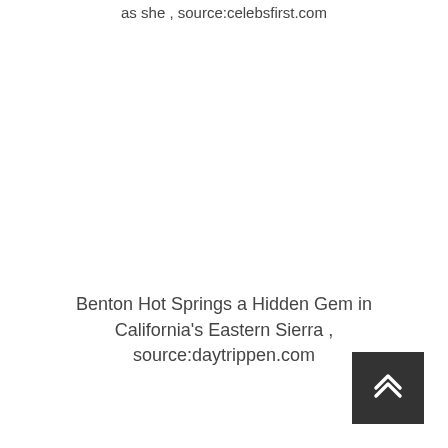as she , source:celebsfirst.com
[Figure (photo): Blank image area (image not loaded)]
Benton Hot Springs a Hidden Gem in California's Eastern Sierra , source:daytrippen.com